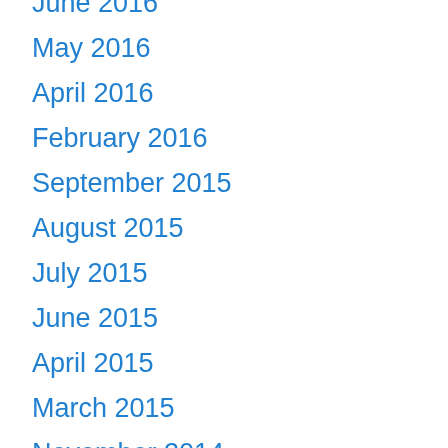June 2016
May 2016
April 2016
February 2016
September 2015
August 2015
July 2015
June 2015
April 2015
March 2015
November 2014
October 2014
September 2014
August 2014